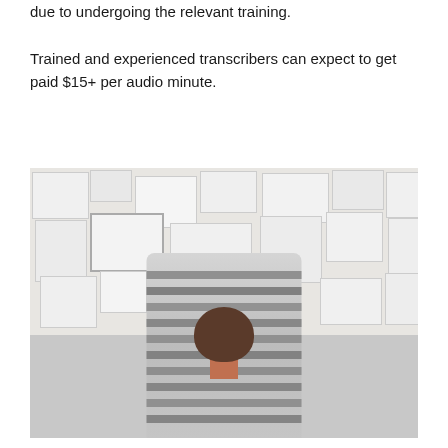due to undergoing the relevant training.

Trained and experienced transcribers can expect to get paid $15+ per audio minute.
[Figure (photo): A person seen from behind wearing a striped sweater, looking at a wall covered with papers, notes, sketches and documents pinned or clipped to it.]